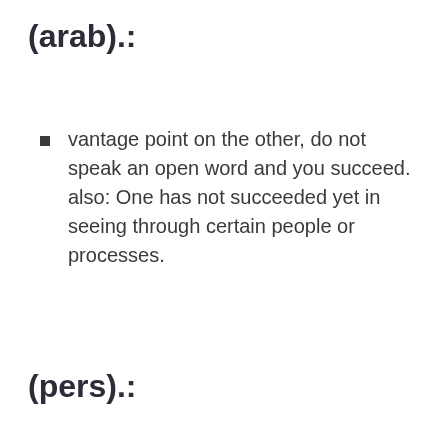(arab).:
vantage point on the other, do not speak an open word and you succeed. also: One has not succeeded yet in seeing through certain people or processes.
(pers).:
a double symbol: The darkness sends a reminder on the one hand to lose his way